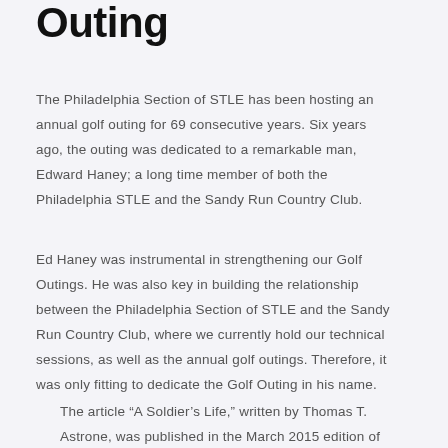Outing
The Philadelphia Section of STLE has been hosting an annual golf outing for 69 consecutive years. Six years ago, the outing was dedicated to a remarkable man, Edward Haney; a long time member of both the Philadelphia STLE and the Sandy Run Country Club.
Ed Haney was instrumental in strengthening our Golf Outings. He was also key in building the relationship between the Philadelphia Section of STLE and the Sandy Run Country Club, where we currently hold our technical sessions, as well as the annual golf outings. Therefore, it was only fitting to dedicate the Golf Outing in his name.
The article “A Soldier’s Life,” written by Thomas T. Astrone, was published in the March 2015 edition of